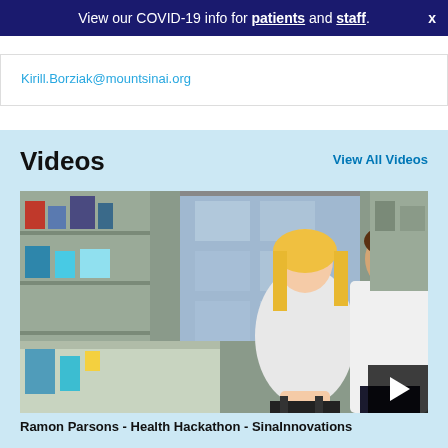View our COVID-19 info for patients and staff.
Kirill.Borziak@mountsinai.org
Videos
View All Videos
[Figure (photo): Two researchers in white lab coats in a laboratory setting. A woman with blonde hair is seated at a lab bench speaking, while a man stands across from her. Lab equipment and shelving are visible in the background along with a large window.]
Ramon Parsons - Health Hackathon - SinaInnovations